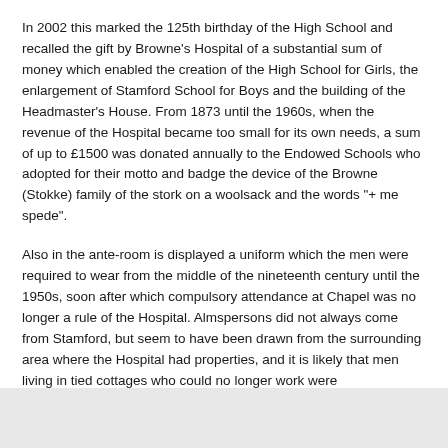In 2002 this marked the 125th birthday of the High School and recalled the gift by Browne's Hospital of a substantial sum of money which enabled the creation of the High School for Girls, the enlargement of Stamford School for Boys and the building of the Headmaster's House. From 1873 until the 1960s, when the revenue of the Hospital became too small for its own needs, a sum of up to £1500 was donated annually to the Endowed Schools who adopted for their motto and badge the device of the Browne (Stokke) family of the stork on a woolsack and the words "+ me spede".
Also in the ante-room is displayed a uniform which the men were required to wear from the middle of the nineteenth century until the 1950s, soon after which compulsory attendance at Chapel was no longer a rule of the Hospital. Almspersons did not always come from Stamford, but seem to have been drawn from the surrounding area where the Hospital had properties, and it is likely that men living in tied cottages who could no longer work were recommended for a place at Browne's by the incumbent of their parish.